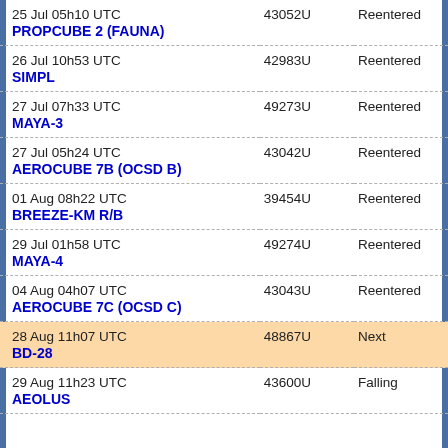| Object / Date | ID | Status |
| --- | --- | --- |
| 25 Jul 05h10 UTC
PROPCUBE 2 (FAUNA) | 43052U | Reentered |
| 26 Jul 10h53 UTC
SIMPL | 42983U | Reentered |
| 27 Jul 07h33 UTC
MAYA-3 | 49273U | Reentered |
| 27 Jul 05h24 UTC
AEROCUBE 7B (OCSD B) | 43042U | Reentered |
| 01 Aug 08h22 UTC
BREEZE-KM R/B | 39454U | Reentered |
| 29 Jul 01h58 UTC
MAYA-4 | 49274U | Reentered |
| 04 Aug 04h07 UTC
AEROCUBE 7C (OCSD C) | 43043U | Reentered |
| 28 Aug 11h07 UTC
BD-28 | 48867U | Next |
| 29 Aug 11h23 UTC
AEOLUS | 43600U | Falling |